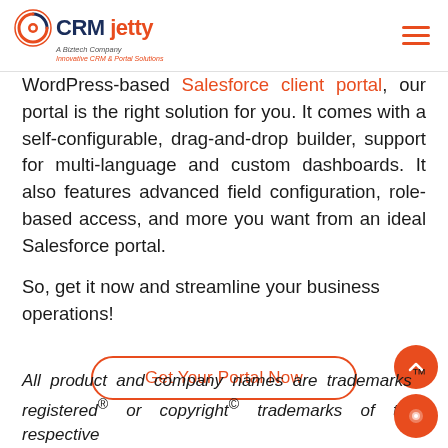CRM jetty — A Biztech Company — Innovative CRM & Portal Solutions
WordPress-based Salesforce client portal, our portal is the right solution for you. It comes with a self-configurable, drag-and-drop builder, support for multi-language and custom dashboards. It also features advanced field configuration, role-based access, and more you want from an ideal Salesforce portal.
So, get it now and streamline your business operations!
Get Your Portal Now
All product and company names are trademarks™ registered® or copyright© trademarks of their respective